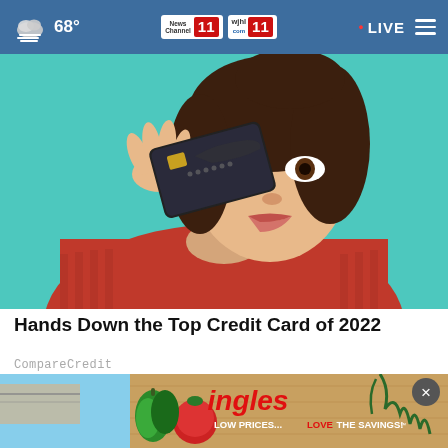68° | News Channel 11 | wjhl 11 | LIVE
[Figure (photo): Young woman in red ribbed turtleneck sweater holding a dark credit card over one eye, winking, with teal/turquoise background]
Hands Down the Top Credit Card of 2022
CompareCredit
[Figure (photo): Ingles supermarket advertisement showing vegetables (tomatoes, green peppers, herbs) with text: ingles LOW PRICES... LOVE THE SAVINGS!]